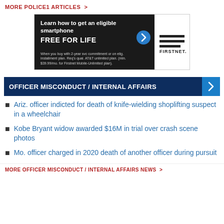MORE POLICE1 ARTICLES >
[Figure (other): FirstNet advertisement banner: 'Learn how to get an eligible smartphone FREE FOR LIFE. When you buy with 2-year svc commitment or on elig. installment plan. Req's qual. AT&T unlimited plan. (min. $39.99/mo. for Firstnet Mobile-Unlimited plan).']
OFFICER MISCONDUCT / INTERNAL AFFAIRS
Ariz. officer indicted for death of knife-wielding shoplifting suspect in a wheelchair
Kobe Bryant widow awarded $16M in trial over crash scene photos
Mo. officer charged in 2020 death of another officer during pursuit
MORE OFFICER MISCONDUCT / INTERNAL AFFAIRS NEWS >